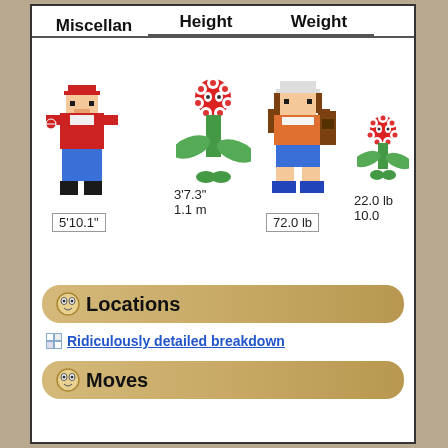Miscellan   Height   Weight
[Figure (illustration): Height and weight comparison chart showing two trainer sprites alongside a Vileplume sprite (tall) and a smaller sprite. Measurements: trainer height 5'10.1", Vileplume height 3'7.3" / 1.1 m, trainer weight 72.0 lb, Vileplume weight 22.0 lb / 10.0 kg]
Locations
Ridiculously detailed breakdown
Moves